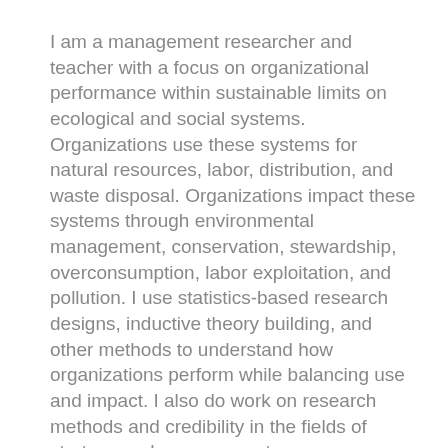I am a management researcher and teacher with a focus on organizational performance within sustainable limits on ecological and social systems. Organizations use these systems for natural resources, labor, distribution, and waste disposal. Organizations impact these systems through environmental management, conservation, stewardship, overconsumption, labor exploitation, and pollution. I use statistics-based research designs, inductive theory building, and other methods to understand how organizations perform while balancing use and impact. I also do work on research methods and credibility in the fields of strategy and management.
My scholarly home is the University of Michigan Erb Institute and the Strategy and Management & Organizations departments of the Michigan Ross